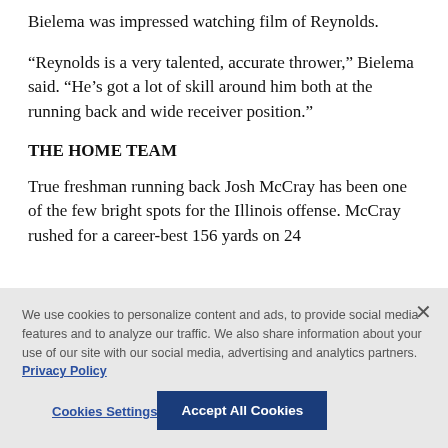Bielema was impressed watching film of Reynolds.
“Reynolds is a very talented, accurate thrower,” Bielema said. “He’s got a lot of skill around him both at the running back and wide receiver position.”
THE HOME TEAM
True freshman running back Josh McCray has been one of the few bright spots for the Illinois offense. McCray rushed for a career-best 156 yards on 24
We use cookies to personalize content and ads, to provide social media features and to analyze our traffic. We also share information about your use of our site with our social media, advertising and analytics partners. Privacy Policy
Cookies Settings
Accept All Cookies